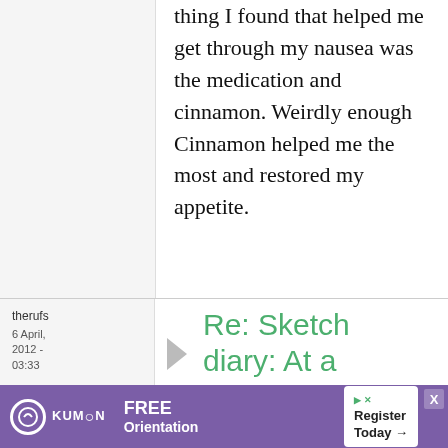thing I found that helped me get through my nausea was the medication and cinnamon. Weirdly enough Cinnamon helped me the most and restored my appetite.
therufs
6 April, 2012 - 03:33
Re: Sketch diary: At a
[Figure (other): Kumon advertisement banner with purple background showing FREE Orientation and Register Today]